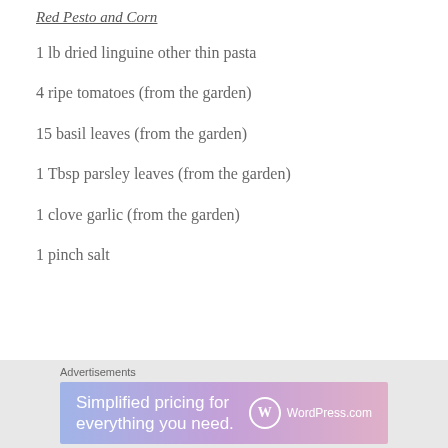Red Pesto and Corn
1 lb dried linguine other thin pasta
4 ripe tomatoes (from the garden)
15 basil leaves (from the garden)
1 Tbsp parsley leaves (from the garden)
1 clove garlic (from the garden)
1 pinch salt
Advertisements
[Figure (screenshot): WordPress.com advertisement banner: 'Simplified pricing for everything you need.' with WordPress.com logo]